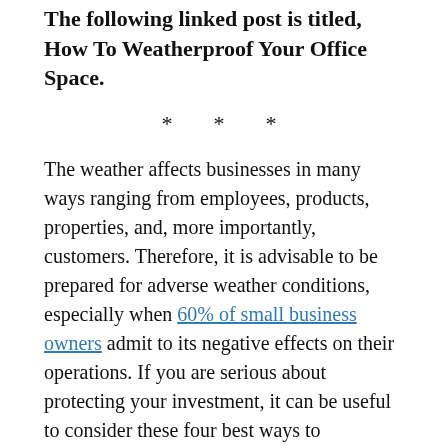The following linked post is titled, How To Weatherproof Your Office Space.
* * *
The weather affects businesses in many ways ranging from employees, products, properties, and, more importantly, customers. Therefore, it is advisable to be prepared for adverse weather conditions, especially when 60% of small business owners admit to its negative effects on their operations. If you are serious about protecting your investment, it can be useful to consider these four best ways to weatherproof your small business.